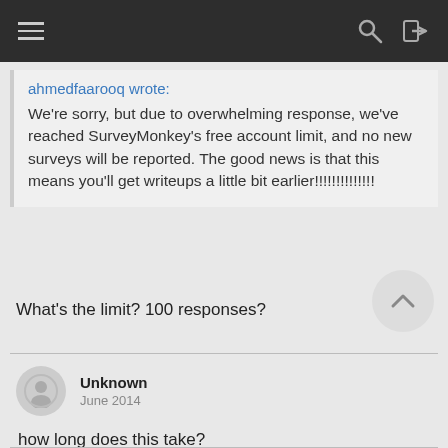[Figure (screenshot): Mobile app navigation bar with hamburger menu, search icon, and login icon on dark background]
ahmedfaarooq wrote:
We're sorry, but due to overwhelming response, we've reached SurveyMonkey's free account limit, and no new surveys will be reported. The good news is that this means you'll get writeups a little bit earlier!!!!!!!!!!!!!!
What's the limit? 100 responses?
Unknown
June 2014
how long does this take?